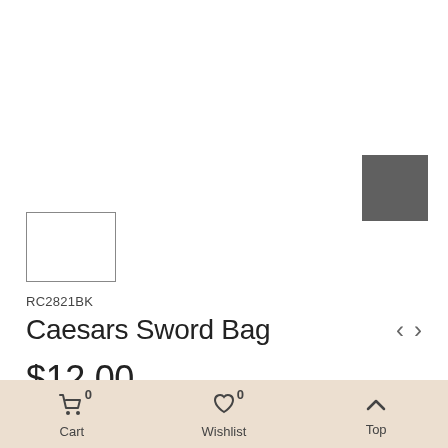[Figure (photo): Gray square color swatch in top right area]
[Figure (photo): Small white thumbnail image with gray border for product]
RC2821BK
Caesars Sword Bag
$12.00
Cart 0  Wishlist 0  Top